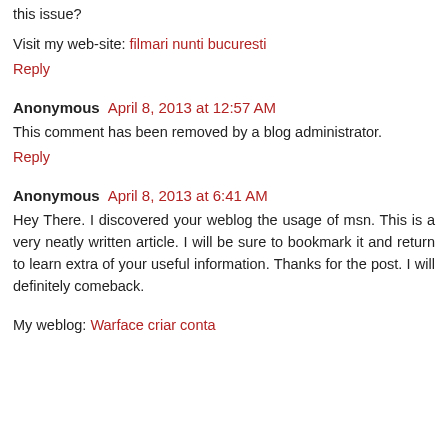this issue?
Visit my web-site: filmari nunti bucuresti
Reply
Anonymous  April 8, 2013 at 12:57 AM
This comment has been removed by a blog administrator.
Reply
Anonymous  April 8, 2013 at 6:41 AM
Hey There. I discovered your weblog the usage of msn. This is a very neatly written article. I will be sure to bookmark it and return to learn extra of your useful information. Thanks for the post. I will definitely comeback.
My weblog: Warface criar conta